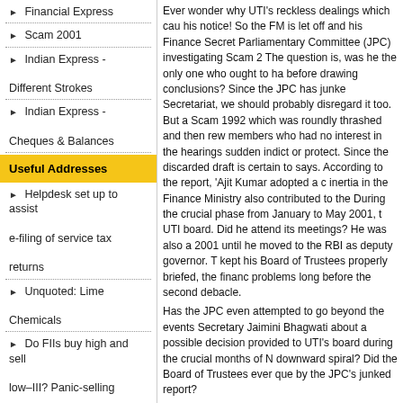Financial Express
Scam 2001
Indian Express - Different Strokes
Indian Express - Cheques & Balances
Useful Addresses
Helpdesk set up to assist e-filing of service tax returns
Unquoted: Lime Chemicals
Do FIIs buy high and sell low–III? Panic-selling during declines
Centre criticised for move to make available
Ever wonder why UTI's reckless dealings which cau his notice! So the FM is let off and his Finance Secret Parliamentary Committee (JPC) investigating Scam 2 The question is, was he the only one who ought to ha before drawing conclusions? Since the JPC has junke Secretariat, we should probably disregard it too. But a Scam 1992 which was roundly thrashed and then rew members who had no interest in the hearings sudden indict or protect. Since the discarded draft is certain to says. According to the report, 'Ajit Kumar adopted a c inertia in the Finance Ministry also contributed to the During the crucial phase from January to May 2001, t UTI board. Did he attend its meetings? He was also a 2001 until he moved to the RBI as deputy governor. T kept his Board of Trustees properly briefed, the financ problems long before the second debacle. Has the JPC even attempted to go beyond the events Secretary Jaimini Bhagwati about a possible decision provided to UTI's board during the crucial months of N downward spiral? Did the Board of Trustees ever que by the JPC's junked report? And on whose assurance did Subramanyam permit la Rs 14.75 all through May 2001 without alerting his bo chairman cannot have been acting on his own. Subra 2001. Did any member of the Board of Trustees ques Instead, some of them quickly sold their own holding they only acted on the basis of market information. If why did all hell break loose on Monday morning (July According to information submitted to the JPC, Dr Bh that even at that late stage it should convert US-64 to of units. He had warned that such a move would have ought to have been working overtime to handle its ow Exchange (BSE) by buying Rs 85 crore or so of RS